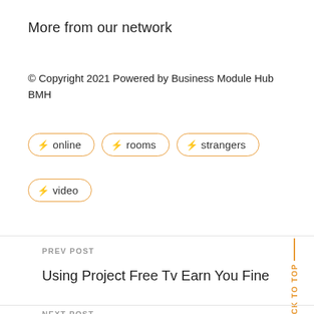More from our network
© Copyright 2021 Powered by Business Module Hub BMH
⚡ online
⚡ rooms
⚡ strangers
⚡ video
PREV POST
Using Project Free Tv Earn You Fine
NEXT POST